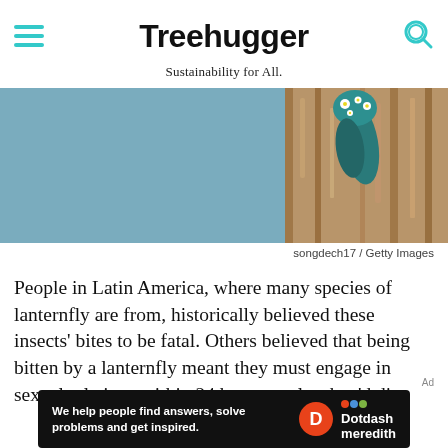Treehugger
Sustainability for All.
[Figure (photo): Close-up photograph of a lanternfly insect on tree bark, showing teal/blue-green head with white and yellow spots, against a blue-gray background with brown bark texture on the right]
songdech17 / Getty Images
People in Latin America, where many species of lanternfly are from, historically believed these insects' bites to be fatal. Others believed that being bitten by a lanternfly meant they must engage in sexual relations within 24 hours or else they'd die. These superstitions have been proven false by the confirmation that lanternflies don't bite and pose absolutely no direct risk to humans.
[Figure (other): Advertisement banner: 'We help people find answers, solve problems and get inspired.' with Dotdash Meredith logo]